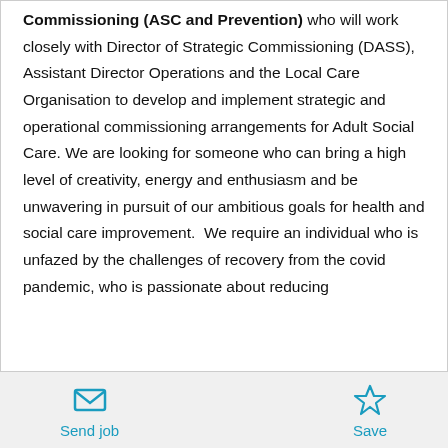Commissioning (ASC and Prevention) who will work closely with Director of Strategic Commissioning (DASS), Assistant Director Operations and the Local Care Organisation to develop and implement strategic and operational commissioning arrangements for Adult Social Care. We are looking for someone who can bring a high level of creativity, energy and enthusiasm and be unwavering in pursuit of our ambitious goals for health and social care improvement.  We require an individual who is unfazed by the challenges of recovery from the covid pandemic, who is passionate about reducing inequalities and…
[Figure (other): Send job button with envelope icon and Save button with star icon in teal color]